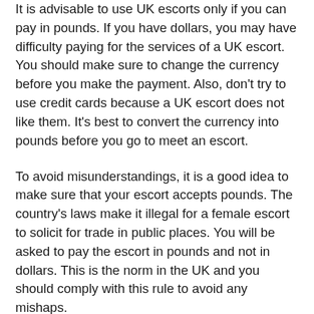It is advisable to use UK escorts only if you can pay in pounds. If you have dollars, you may have difficulty paying for the services of a UK escort. You should make sure to change the currency before you make the payment. Also, don't try to use credit cards because a UK escort does not like them. It's best to convert the currency into pounds before you go to meet an escort.
To avoid misunderstandings, it is a good idea to make sure that your escort accepts pounds. The country's laws make it illegal for a female escort to solicit for trade in public places. You will be asked to pay the escort in pounds and not in dollars. This is the norm in the UK and you should comply with this rule to avoid any mishaps.
UK escorts are legally recognized in the country and are protected in their trade. You can't call them out and ask for trade. That's illegal. So, be prepared with pounds if you plan to hire an escort in the UK. The law does not permit escorts to solicit for their services. However, if you are a British citizen, it is legal to